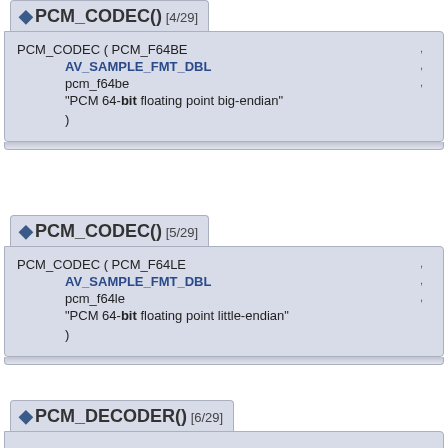PCM_CODEC() [4/29]
PCM_CODEC ( PCM_F64BE ,
    AV_SAMPLE_FMT_DBL ,
    pcm_f64be ,
    "PCM 64-bit floating point big-endian"
)
PCM_CODEC() [5/29]
PCM_CODEC ( PCM_F64LE ,
    AV_SAMPLE_FMT_DBL ,
    pcm_f64le ,
    "PCM 64-bit floating point little-endian"
)
PCM_DECODER() [6/29]